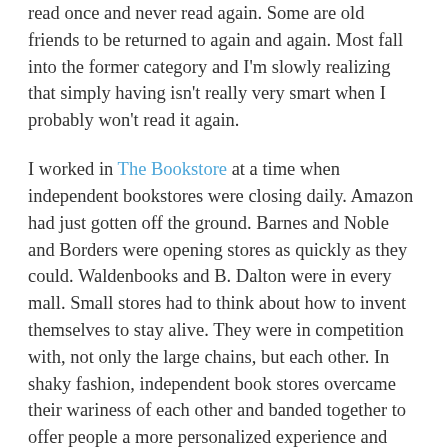read once and never read again. Some are old friends to be returned to again and again. Most fall into the former category and I'm slowly realizing that simply having isn't really very smart when I probably won't read it again.
I worked in The Bookstore at a time when independent bookstores were closing daily. Amazon had just gotten off the ground. Barnes and Noble and Borders were opening stores as quickly as they could. Waldenbooks and B. Dalton were in every mall. Small stores had to think about how to invent themselves to stay alive. They were in competition with, not only the large chains, but each other. In shaky fashion, independent book stores overcame their wariness of each other and banded together to offer people a more personalized experience and joint services that the big bookstores could offer, things like gift certificates redeemable at any independent bookstore which was a part of the network, and books offered by small presses, books the big guys won't touch because they won't sell eleventy billion. They reinvented themselves. That reinvention has allowed them to survive, if not thrive, during an era when the big stores have to close outlets or simply go out of business.